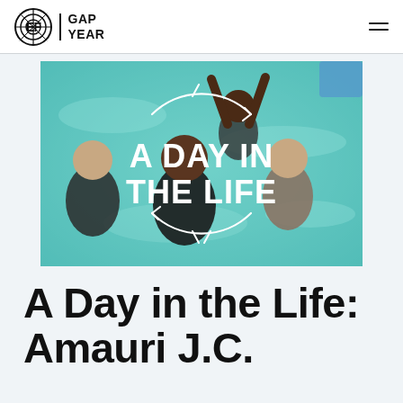EF GAP YEAR
[Figure (photo): Four young women swimming and smiling in turquoise water, with white text overlay reading 'A DAY IN THE LIFE' and decorative circular arrow graphics]
A Day in the Life: Amauri J.C.